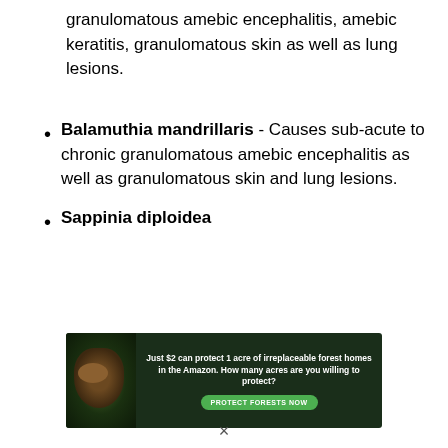granulomatous amebic encephalitis, amebic keratitis, granulomatous skin as well as lung lesions.
Balamuthia mandrillaris - Causes sub-acute to chronic granulomatous amebic encephalitis as well as granulomatous skin and lung lesions.
Sappinia diploidea
[Figure (infographic): Advertisement banner with dark green forest background and orangutan image. Text reads: 'Just $2 can protect 1 acre of irreplaceable forest homes in the Amazon. How many acres are you willing to protect?' with a green 'PROTECT FORESTS NOW' button.]